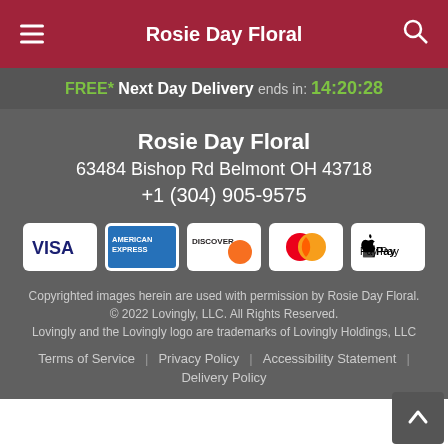Rosie Day Floral
FREE* Next Day Delivery ends in: 14:20:28
Rosie Day Floral
63484 Bishop Rd Belmont OH 43718
+1 (304) 905-9575
[Figure (other): Payment method icons: Visa, American Express, Discover, MasterCard, Apple Pay]
Copyrighted images herein are used with permission by Rosie Day Floral.
© 2022 Lovingly, LLC. All Rights Reserved.
Lovingly and the Lovingly logo are trademarks of Lovingly Holdings, LLC
Terms of Service | Privacy Policy | Accessibility Statement | Delivery Policy